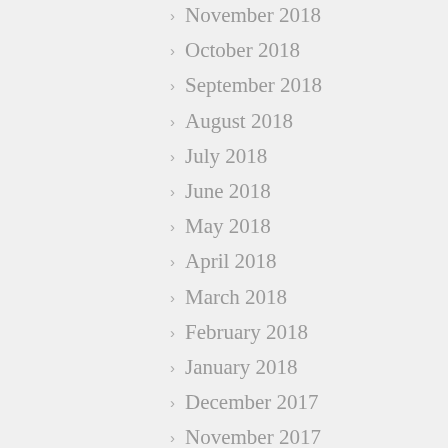November 2018
October 2018
September 2018
August 2018
July 2018
June 2018
May 2018
April 2018
March 2018
February 2018
January 2018
December 2017
November 2017
October 2017
September 2017
August 2017